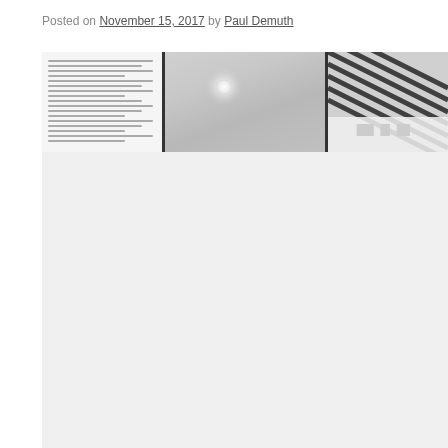Posted on November 15, 2017 by Paul Demuth
[Figure (photo): A composite image showing three panels: left panel with a document/text page, middle panel with a room interior showing a ceiling light, right panel with diagonal lines resembling venetian blinds or architectural elements.]